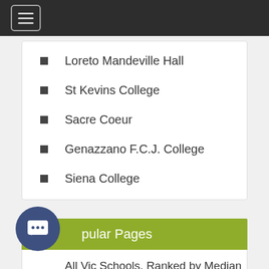Loreto Mandeville Hall
St Kevins College
Sacre Coeur
Genazzano F.C.J. College
Siena College
Popular Pages
All Vic Schools, Ranked by Median VCE